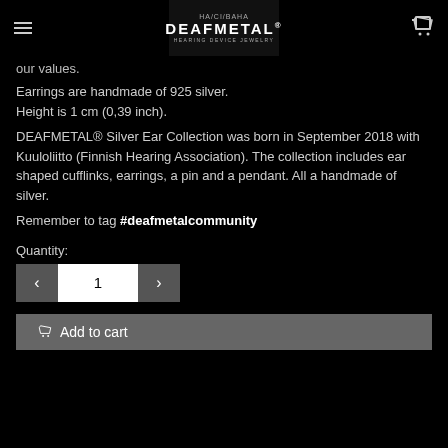HA/CI/BAHA — DEAFMETAL® HEARING DEVICE JEWELRY
our values.
Earrings are handmade of 925 silver.
Height is 1 cm (0,39 inch).
DEAFMETAL® Silver Ear Collection was born in September 2018 with Kuuloliitto (Finnish Hearing Association). The collection includes ear shaped cufflinks, earrings, a pin and a pendant. All a handmade of silver.
Remember to tag #deafmetalcommunity
Quantity:
1
Add to cart